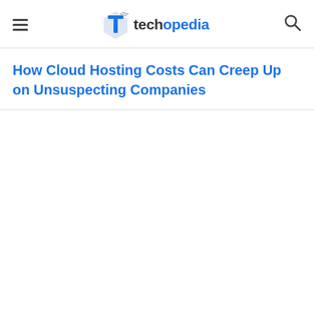techopedia
How Cloud Hosting Costs Can Creep Up on Unsuspecting Companies